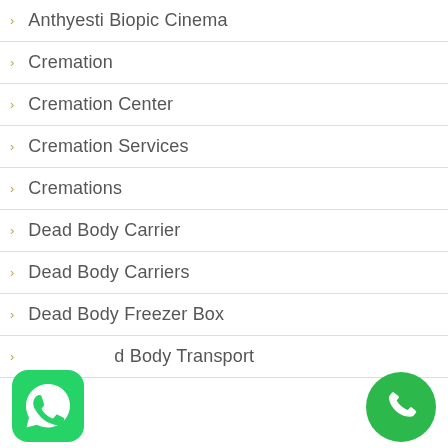Anthyesti Biopic Cinema
Cremation
Cremation Center
Cremation Services
Cremations
Dead Body Carrier
Dead Body Carriers
Dead Body Freezer Box
Dead Body Transport
[Figure (logo): WhatsApp icon button (green rounded square with white phone handset icon)]
[Figure (logo): Green circular phone call button with white phone handset icon]